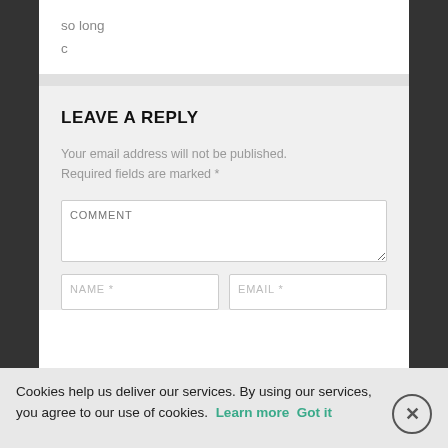so long
c
LEAVE A REPLY
Your email address will not be published. Required fields are marked *
COMMENT
NAME *
EMAIL *
Cookies help us deliver our services. By using our services, you agree to our use of cookies. Learn more Got it